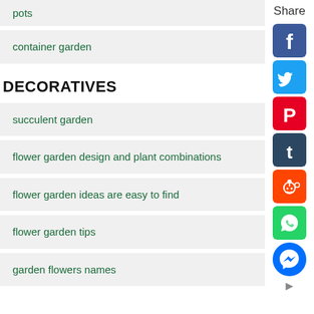pots
container garden
DECORATIVES
succulent garden
flower garden design and plant combinations
flower garden ideas are easy to find
flower garden tips
garden flowers names